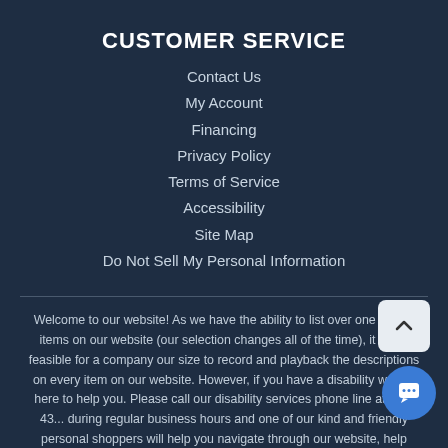CUSTOMER SERVICE
Contact Us
My Account
Financing
Privacy Policy
Terms of Service
Accessibility
Site Map
Do Not Sell My Personal Information
Welcome to our website! As we have the ability to list over one million items on our website (our selection changes all of the time), it is not feasible for a company our size to record and playback the descriptions on every item on our website. However, if you have a disability we are here to help you. Please call our disability services phone line at 803-43... during regular business hours and one of our kind and friendly personal shoppers will help you navigate through our website, help conduct advanced searches, help you choose the item you are looking for with the specifications you are seeking, read you the specifications of any item and